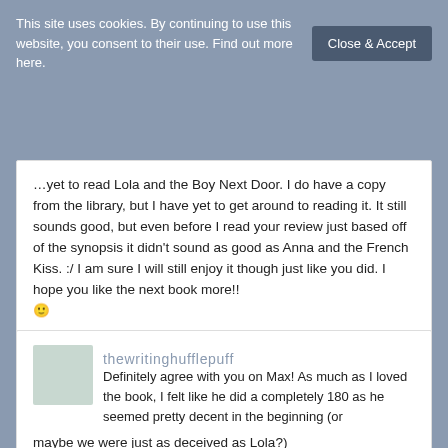This site uses cookies. By continuing to use this website, you consent to their use. Find out more here.
Close & Accept
yet to read Lola and the Boy Next Door. I do have a copy from the library, but I have yet to get around to reading it. It still sounds good, but even before I read your review just based off of the synopsis it didn't sound as good as Anna and the French Kiss. :/ I am sure I will still enjoy it though just like you did. I hope you like the next book more!! 🙂
march 18, 2015, 9:53 am
Reply
[Figure (photo): Avatar photo of thewritinghufflepuff user]
thewritinghufflepuff
Definitely agree with you on Max! As much as I loved the book, I felt like he did a completely 180 as he seemed pretty decent in the beginning (or maybe we were just as deceived as Lola?)